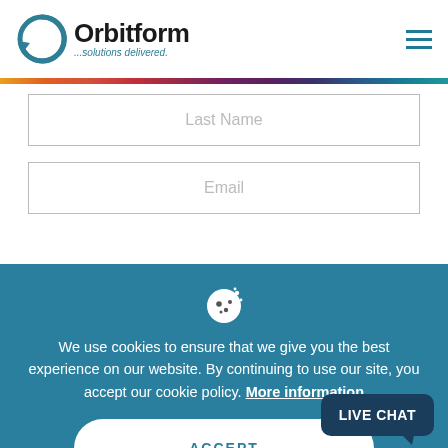[Figure (logo): Orbitform logo with circular arrow icon and tagline '...solutions delivered.']
Last Name
Email
We use cookies to ensure that we give you the best experience on our website. By continuing to use our site, you accept our cookie policy. More information
ACCEPT
LIVE CHAT